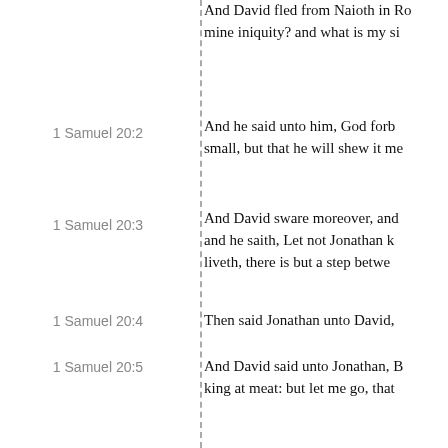And David fled from Naioth in Ramah, and came and said before Jonathan, What have I done? what is mine iniquity? and what is my sin before thy father, that he seeketh my life?
1 Samuel 20:2 — And he said unto him, God forbid; thou shalt not die: behold, my father will do nothing either great or small, but that he will shew it me: and why should my father hide this thing from me? it is not so.
1 Samuel 20:3 — And David sware moreover, and said, Thy father certainly knoweth that I have found grace in thine eyes; and he saith, Let not Jonathan know this, lest he be grieved: but truly as the LORD liveth, there is but a step between me and death.
1 Samuel 20:4 — Then said Jonathan unto David, Whatsoever thy soul desireth, I will even do it for thee.
1 Samuel 20:5 — And David said unto Jonathan, Behold, to morrow is the new moon, and I should not fail to sit with the king at meat: but let me go, that I may hide myself in the field unto the third day at even.
1 Samuel 20:6 — If thy father at all miss me, then say, David earnestly asked leave of me that he might run to Bethlehem his city: for there is a yearly sacrifice there for all the family.
1 Samuel 20:7 — If he say thus, It is well; thy servant shall have peace: but if he be very wroth, then be sure that evil is determined by him.